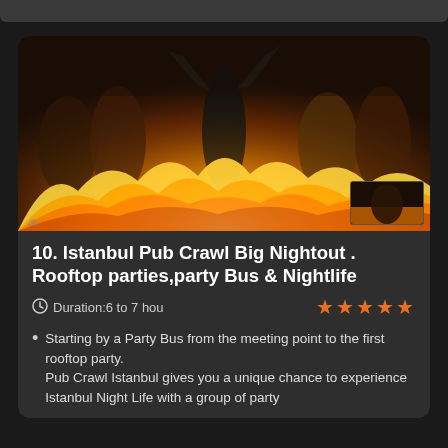[Figure (photo): Crowd of party-goers with arms raised at a nightlife event with fire effects in the foreground]
10. Istanbul Pub Crawl Big Nightout . Rooftop parties,party Bus & Nightlife
Duration:6 to 7 hou
Starting by a Party Bus from the meeting point to the first rooftop party.
Pub Crawl Istanbul gives you a unique chance to experience Istanbul Night Life with a group of party